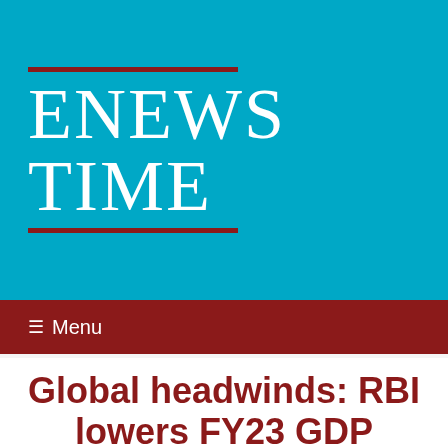[Figure (logo): ENEWS TIME newspaper logo — white serif text on cyan/teal background with dark red horizontal rules above and below]
☰  Menu
Global headwinds: RBI lowers FY23 GDP growth forecast to 7.2%
Mumbai , Apr 08, 2022, IANS